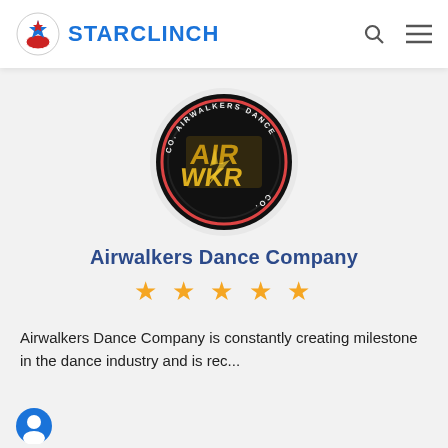STARCLINCH
[Figure (logo): Airwalkers Dance Co. circular logo with gold graffiti-style text on black background]
Airwalkers Dance Company
★★★★★
Airwalkers Dance Company is constantly creating milestone in the dance industry and is rec...